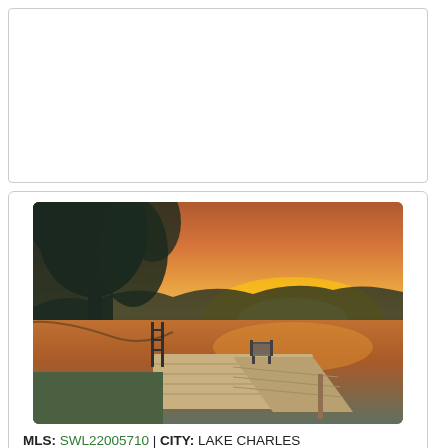[Figure (photo): Empty white card placeholder area at top of page]
[Figure (photo): Lakeside sunset photo showing a wooden dock with a chair, large trees on the left, and a vivid orange and pink sunset reflecting on calm lake water]
MLS: SWL22005710 | CITY: LAKE CHARLES
Lot / Acreage | 0.400 AC | | $139,000
535830 x
LAKE CHARLES $139,000